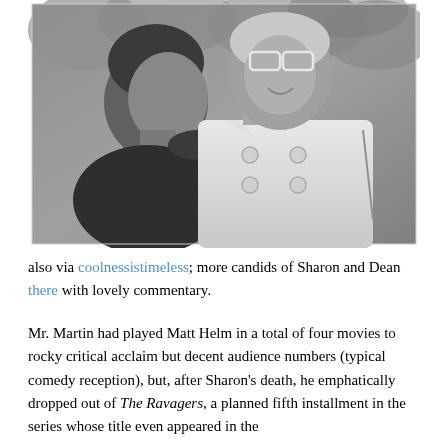[Figure (photo): Black and white candid photograph of a man and woman. The woman is smiling and wearing large glasses and a light-colored double-breasted coat. The man is leaning toward her, wearing a dark top. Appears to be outdoors.]
also via coolnessistimeless; more candids of Sharon and Dean there with lovely commentary.
Mr. Martin had played Matt Helm in a total of four movies to rocky critical acclaim but decent audience numbers (typical comedy reception), but, after Sharon's death, he emphatically dropped out of The Ravagers, a planned fifth installment in the series whose title even appeared in the